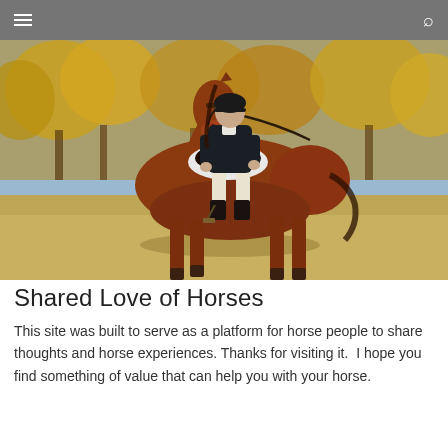Navigation bar with hamburger menu and search icon
[Figure (photo): A rider in formal equestrian attire (black jacket, white breeches, black helmet) sitting on a chestnut horse. The horse is standing in a field with autumn-colored trees in the background. The scene is outdoors on a sunny day.]
Shared Love of Horses
This site was built to serve as a platform for horse people to share thoughts and horse experiences. Thanks for visiting it. I hope you find something of value that can help you with your horse.